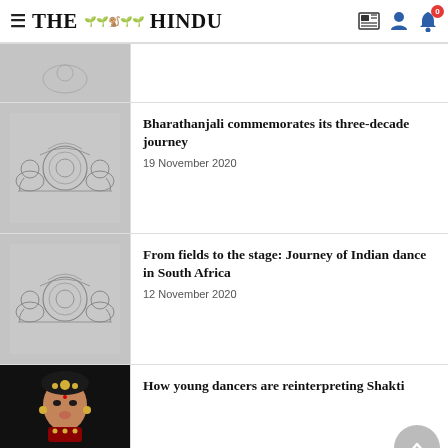THE HINDU
[Figure (photo): Partially visible article thumbnail with grey background showing decorative motif]
[Figure (photo): Grey background image with decorative elephant and medallion motif in line art style]
Bharathanjali commemorates its three-decade journey
19 November 2020
[Figure (photo): Grey background image with decorative elephant and medallion motif in line art style]
From fields to the stage: Journey of Indian dance in South Africa
12 November 2020
[Figure (photo): Photo of a classical Indian dancer in costume and jewellery against dark background]
How young dancers are reinterpreting Shakti